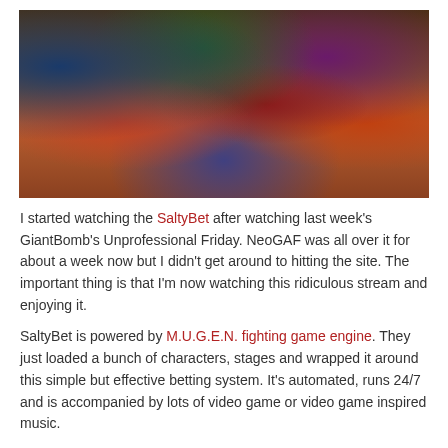[Figure (illustration): A colorful collage of various fighting game characters from multiple franchises, densely packed together. Characters include fighters from Street Fighter, Marvel vs Capcom, and other fighting games, shown in dynamic poses against a vibrant background.]
I started watching the SaltyBet after watching last week's GiantBomb's Unprofessional Friday. NeoGAF was all over it for about a week now but I didn't get around to hitting the site. The important thing is that I'm now watching this ridiculous stream and enjoying it.
SaltyBet is powered by M.U.G.E.N. fighting game engine. They just loaded a bunch of characters, stages and wrapped it around this simple but effective betting system. It's automated, runs 24/7 and is accompanied by lots of video game or video game inspired music.